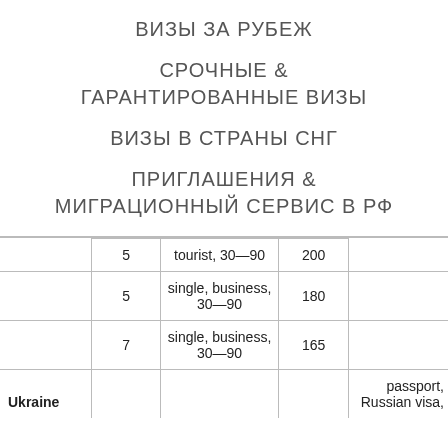ВИЗЫ ЗА РУБЕЖ
СРОЧНЫЕ & ГАРАНТИРОВАННЫЕ ВИЗЫ
ВИЗЫ В СТРАНЫ СНГ
ПРИГЛАШЕНИЯ & МИГРАЦИОННЫЙ СЕРВИС В РФ
|  | days | type | price | notes |
| --- | --- | --- | --- | --- |
|  | 5 | tourist, 30—90 | 200 |  |
|  | 5 | single, business, 30—90 | 180 |  |
|  | 7 | single, business, 30—90 | 165 |  |
| Ukraine |  |  |  | passport, Russian visa, |